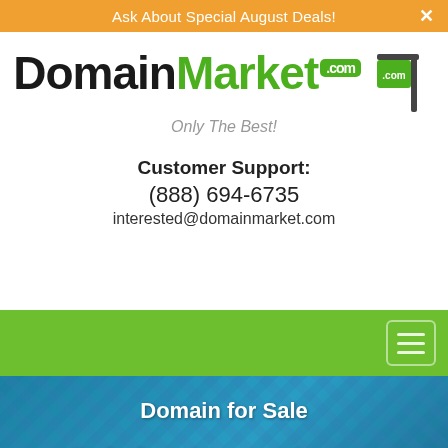Ask About Special August Deals!
[Figure (logo): DomainMarket.com logo with real estate sign graphic and tagline 'Only The Best!']
Customer Support:
(888) 694-6735
interested@domainmarket.com
[Figure (screenshot): Green navigation bar with hamburger menu button]
Domain for Sale
CricketHostel.com
$4,888 USD
Leave a message